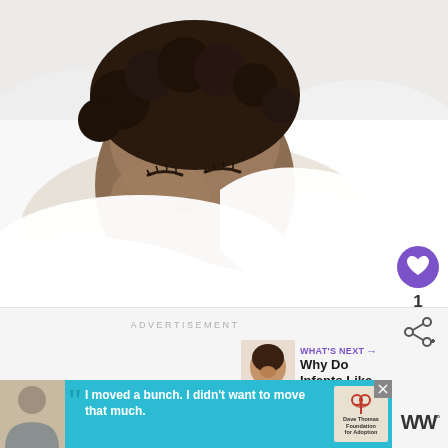[Figure (photo): A sleeping baby/toddler with dark curly hair lying on a white pillow, eyes closed, wrapped in white bedding]
1
ADVERTISEMENT
WHAT'S NEXT → Why Do Infants Like...
[Figure (photo): Small thumbnail of a baby for 'What's Next' panel]
[Figure (screenshot): Advertisement banner: boy with quote 'I moved a bunch. I didn't want to move that much.' with Dave Thomas Foundation for Adoption logo]
[Figure (logo): WW° logo on right side]